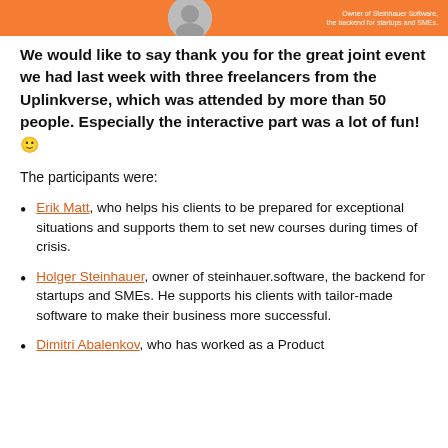[Figure (illustration): Orange banner with a circular avatar photo on the left-center and small white text on the right reading 'Owner of Steinhauer Software, the backend for startups and SMEs.']
We would like to say thank you for the great joint event we had last week with three freelancers from the Uplinkverse, which was attended by more than 50 people. Especially the interactive part was a lot of fun! 🙂
The participants were:
Erik Matt, who helps his clients to be prepared for exceptional situations and supports them to set new courses during times of crisis.
Holger Steinhauer, owner of steinhauer.software, the backend for startups and SMEs. He supports his clients with tailor-made software to make their business more successful.
Dimitri Abalenkov, who has worked as a Product